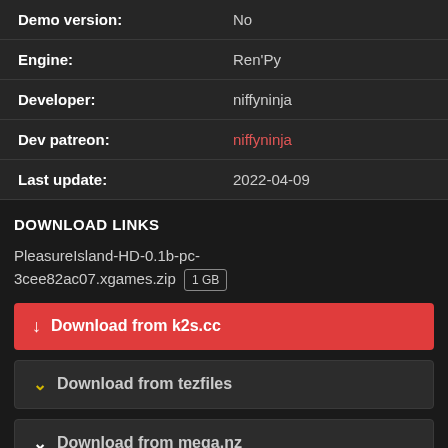| Demo version: | No |
| Engine: | Ren'Py |
| Developer: | niffyninja |
| Dev patreon: | niffyninja |
| Last update: | 2022-04-09 |
DOWNLOAD LINKS
PleasureIsland-HD-0.1b-pc-3cee82ac07.xgames.zip  1 GB
↓ Download from k2s.cc
⌵ Download from tezfiles
⌵ Download from mega.nz